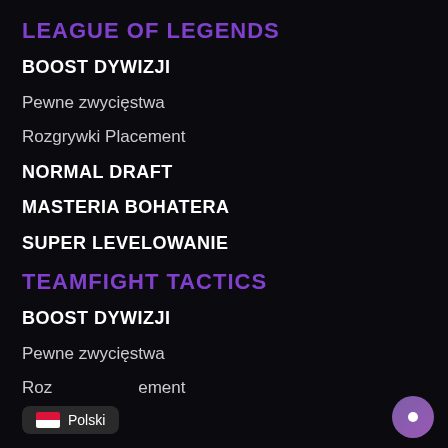LEAGUE OF LEGENDS
BOOST DYWIZJI
Pewne zwycięstwa
Rozgrywki Placement
NORMAL DRAFT
MASTERIA BOHATERA
SUPER LEVELOWANIE
TEAMFIGHT TACTICS
BOOST DYWIZJI
Pewne zwycięstwa
Rozgrywki Placement
Polski